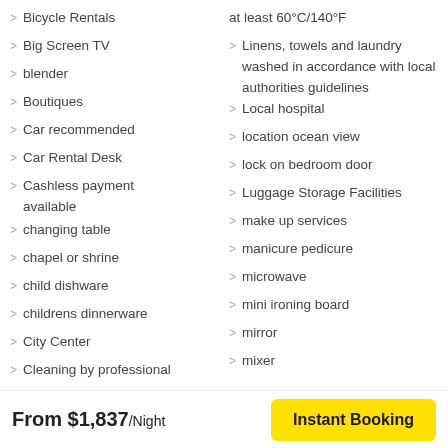Bicycle Rentals
Big Screen TV
blender
Boutiques
Car recommended
Car Rental Desk
Cashless payment available
changing table
chapel or shrine
child dishware
childrens dinnerware
City Center
Cleaning by professional
at least 60°C/140°F
Linens, towels and laundry washed in accordance with local authorities guidelines
Local hospital
location ocean view
lock on bedroom door
Luggage Storage Facilities
make up services
manicure pedicure
microwave
mini ironing board
mirror
mixer
From $1,837/Night
Instant Booking